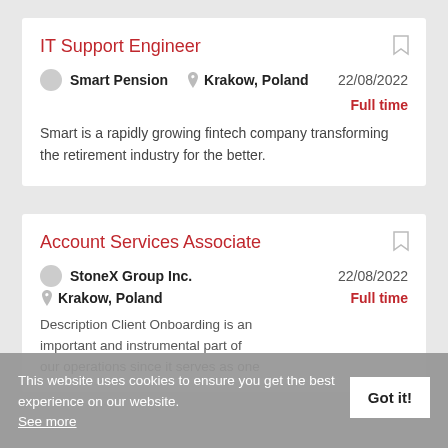IT Support Engineer
Smart Pension   Krakow, Poland   22/08/2022   Full time
Smart is a rapidly growing fintech company transforming the retirement industry for the better.
Account Services Associate
StoneX Group Inc.   Krakow, Poland   22/08/2022   Full time
Description Client Onboarding is an important and instrumental part of our operations since it serves as one
This website uses cookies to ensure you get the best experience on our website. See more